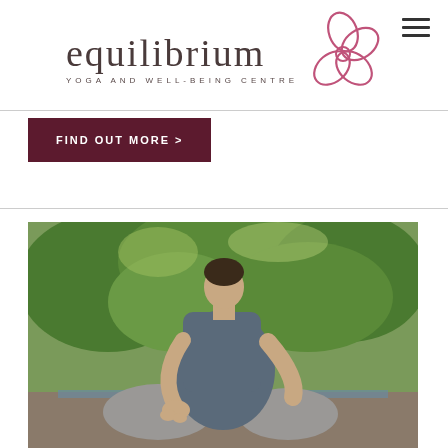[Figure (logo): Equilibrium Yoga and Well-Being Centre logo with stylized flower and wordmark]
FIND OUT MORE >
[Figure (photo): Pregnant woman sitting in lotus meditation pose outdoors with greenery in background]